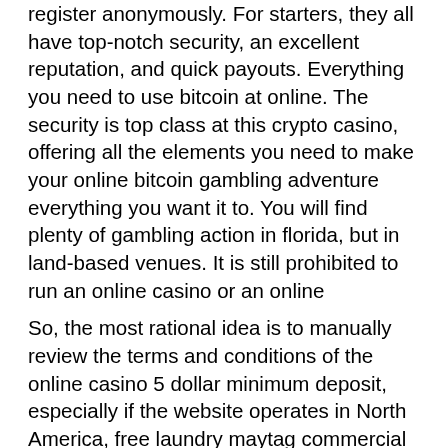register anonymously. For starters, they all have top-notch security, an excellent reputation, and quick payouts. Everything you need to use bitcoin at online. The security is top class at this crypto casino, offering all the elements you need to make your online bitcoin gambling adventure everything you want it to. You will find plenty of gambling action in florida, but in land-based venues. It is still prohibited to run an online casino or an online
So, the most rational idea is to manually review the terms and conditions of the online casino 5 dollar minimum deposit, especially if the website operates in North America, free laundry maytag commercial one slotted machine hacks. In the past, we remember having a good time playing USA online casino 5 dollar minimum deposit since their presence on the market was solid. The only requirement is